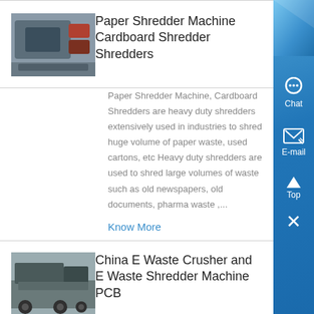[Figure (photo): Photo of a paper shredder machine, industrial grey/blue equipment]
Paper Shredder Machine Cardboard Shredder Shredders
Paper Shredder Machine, Cardboard Shredders are heavy duty shredders extensively used in industries to shred huge volume of paper waste, used cartons, etc Heavy duty shredders are used to shred large volumes of waste such as old newspapers, old documents, pharma waste ,...
Know More
[Figure (photo): Photo of a large truck or industrial vehicle, China E Waste Crusher equipment]
China E Waste Crusher and E Waste Shredder Machine PCB